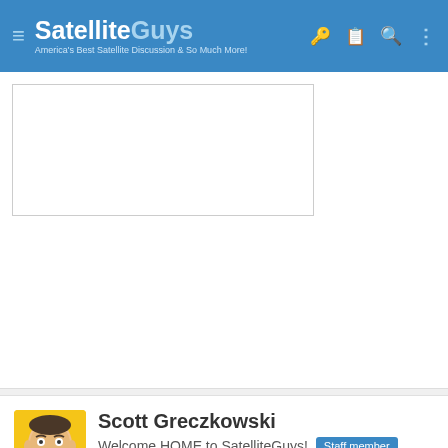SatelliteGuys — America's Best Satellite Discussion & So Much More!
[Figure (screenshot): Advertisement placeholder box (empty white rectangle with border)]
Scott Greczkowski
Welcome HOME to SatelliteGuys! Staff member
HERE TO HELP YOU!
Apr 12, 2017  #8
I have submitted to the ad company, there is nothing